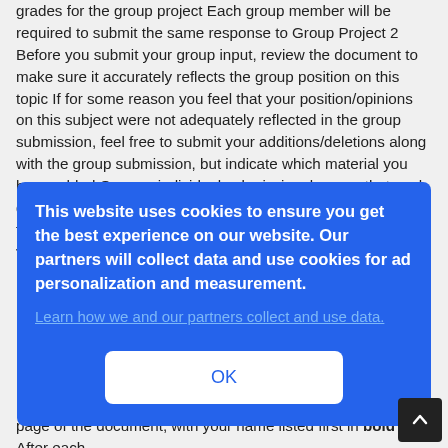grades for the group project Each group member will be required to submit the same response to Group Project 2 Before you submit your group input, review the document to make sure it accurately reflects the group position on this topic If for some reason you feel that your position/opinions on this subject were not adequately reflected in the group submission, feel free to submit your additions/deletions along with the group submission, but indicate which material you have added On your individual submission, be sure that each group member's name is included in the top left corner on the first page of the document,with your name listed first in bold font After each group member's name, rate ... p ... ctor ... mber ... fore ... n you ... hich ... at page of the document, with your name listed first in bold font After each
This website uses cookies to ensure you get the best experience on our website. Our partners will collect data and use cookies for ad personalization and measurement. Learn how we and our partners collect and use data. OK